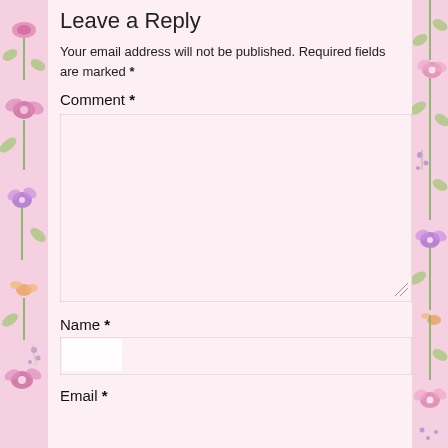Leave a Reply
Your email address will not be published. Required fields are marked *
Comment *
[Figure (other): Large comment textarea input box]
Name *
[Figure (other): Name text input field]
Email *